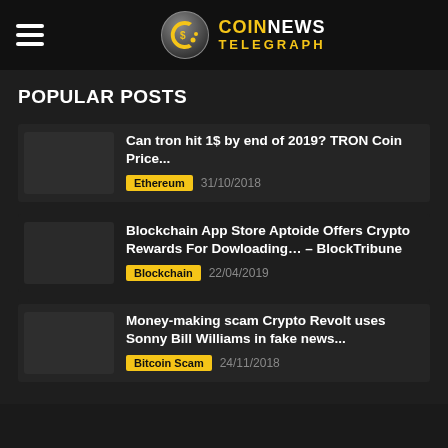COIN NEWS TELEGRAPH
POPULAR POSTS
Can tron hit 1$ by end of 2019? TRON Coin Price... | Ethereum | 31/10/2018
Blockchain App Store Aptoide Offers Crypto Rewards For Dowloading... – BlockTribune | Blockchain | 22/04/2019
Money-making scam Crypto Revolt uses Sonny Bill Williams in fake news... | Bitcoin Scam | 24/11/2018